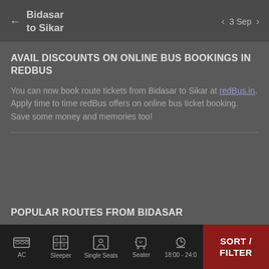← Bidasar to Sikar   < 3 Sep >
AVAIL DISCOUNTS ON ONLINE BUS BOOKINGS IN REDBUS
You can now book route tickets from Bidasar to Sikar at redBus.in. Apply time to time redBus offers on online bus ticket booking. Save some money and memories too!
POPULAR ROUTES FROM BIDASAR
Bidasar to Sikar
AC  Sleeper  Single Seats  Seater  18:00 - 24:00  SORT / FILTER